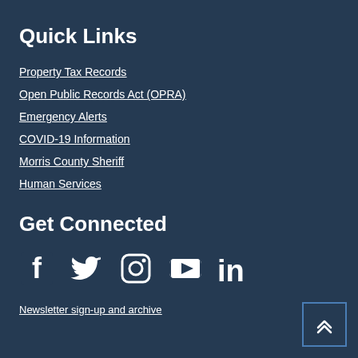Quick Links
Property Tax Records
Open Public Records Act (OPRA)
Emergency Alerts
COVID-19 Information
Morris County Sheriff
Human Services
Get Connected
[Figure (infographic): Social media icons: Facebook, Twitter, Instagram, YouTube, LinkedIn]
Newsletter sign-up and archive